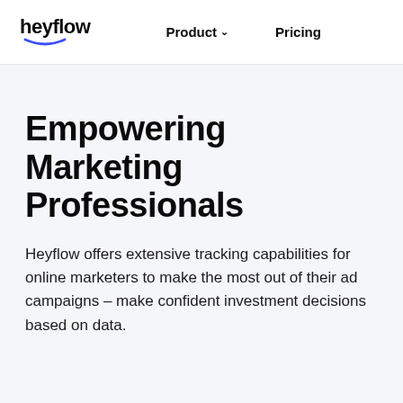heyflow  Product ∨  Pricing
Empowering Marketing Professionals
Heyflow offers extensive tracking capabilities for online marketers to make the most out of their ad campaigns – make confident investment decisions based on data.